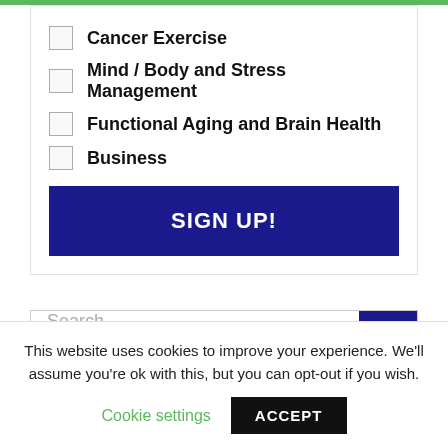Cancer Exercise
Mind / Body and Stress Management
Functional Aging and Brain Health
Business
SIGN UP!
Search...
This website uses cookies to improve your experience. We'll assume you're ok with this, but you can opt-out if you wish.
Cookie settings
ACCEPT